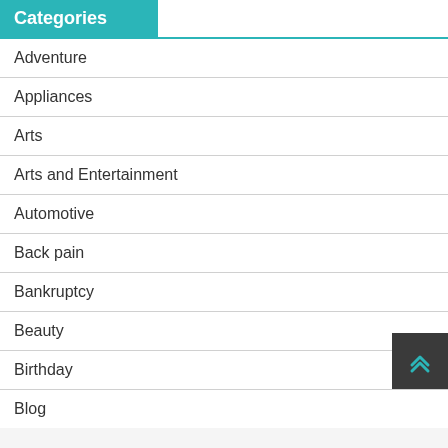Categories
Adventure
Appliances
Arts
Arts and Entertainment
Automotive
Back pain
Bankruptcy
Beauty
Birthday
Blog